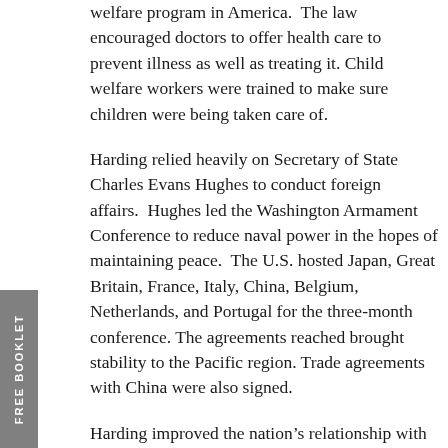welfare program in America. The law encouraged doctors to offer health care to prevent illness as well as treating it. Child welfare workers were trained to make sure children were being taken care of.
Harding relied heavily on Secretary of State Charles Evans Hughes to conduct foreign affairs. Hughes led the Washington Armament Conference to reduce naval power in the hopes of maintaining peace. The U.S. hosted Japan, Great Britain, France, Italy, China, Belgium, Netherlands, and Portugal for the three-month conference. The agreements reached brought stability to the Pacific region. Trade agreements with China were also signed.
Harding improved the nation’s relationship with countries to the south. The Thomson-Urrutia Treaty awarded Colombia $25 million as payment for land used for the Panama Canal. The President also improved relations with Mexico, which had been strained during Wilson’s administration. Under Harding’s direction, the military began leaving occupied areas of Central America and the